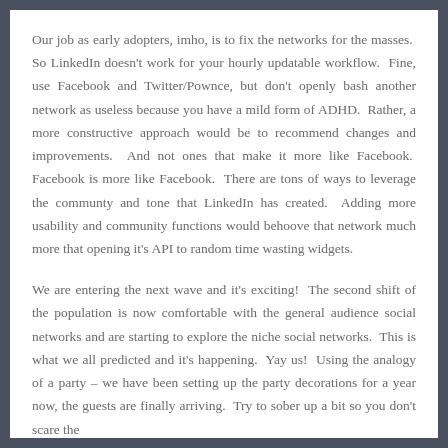Our job as early adopters, imho, is to fix the networks for the masses.  So LinkedIn doesn't work for your hourly updatable workflow.  Fine, use Facebook and Twitter/Pownce, but don't openly bash another network as useless because you have a mild form of ADHD.  Rather, a more constructive approach would be to recommend changes and improvements.  And not ones that make it more like Facebook.  Facebook is more like Facebook.  There are tons of ways to leverage the communty and tone that LinkedIn has created.  Adding more usability and community functions would behoove that network much more that opening it's API to random time wasting widgets.
We are entering the next wave and it's exciting!  The second shift of the population is now comfortable with the general audience social networks and are starting to explore the niche social networks.  This is what we all predicted and it's happening.  Yay us!  Using the analogy of a party – we have been setting up the party decorations for a year now, the guests are finally arriving.  Try to sober up a bit so you don't scare the